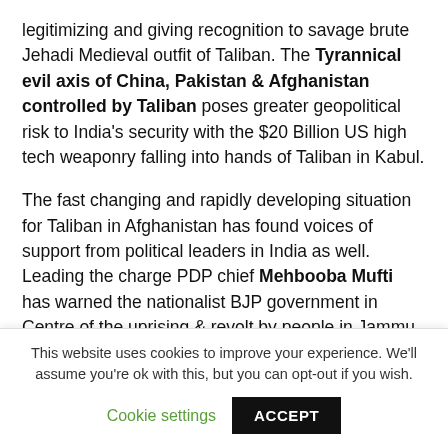legitimizing and giving recognition to savage brute Jehadi Medieval outfit of Taliban. The Tyrannical evil axis of China, Pakistan & Afghanistan controlled by Taliban poses greater geopolitical risk to India's security with the $20 Billion US high tech weaponry falling into hands of Taliban in Kabul.
The fast changing and rapidly developing situation for Taliban in Afghanistan has found voices of support from political leaders in India as well. Leading the charge PDP chief Mehbooba Mufti has warned the nationalist BJP government in Centre of the uprising & revolt by people in Jammu & Kashmir will
This website uses cookies to improve your experience. We'll assume you're ok with this, but you can opt-out if you wish.
Cookie settings | ACCEPT